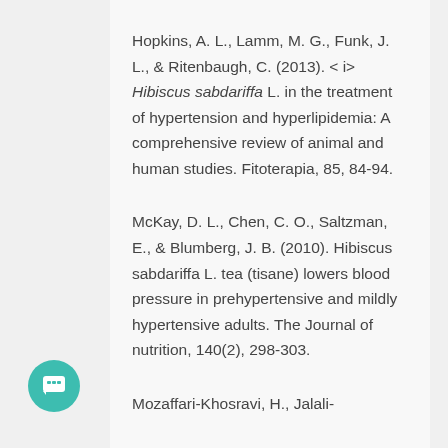Hopkins, A. L., Lamm, M. G., Funk, J. L., & Ritenbaugh, C. (2013). < i> Hibiscus sabdariffa L. in the treatment of hypertension and hyperlipidemia: A comprehensive review of animal and human studies. Fitoterapia, 85, 84-94.
McKay, D. L., Chen, C. O., Saltzman, E., & Blumberg, J. B. (2010). Hibiscus sabdariffa L. tea (tisane) lowers blood pressure in prehypertensive and mildly hypertensive adults. The Journal of nutrition, 140(2), 298-303.
Mozaffari-Khosravi, H., Jalali-